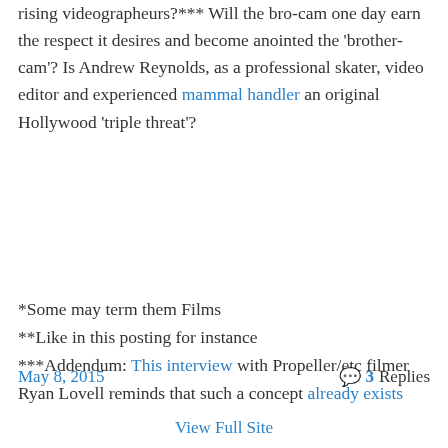rising videographeurs?*** Will the bro-cam one day earn the respect it desires and become anointed the 'brother-cam'? Is Andrew Reynolds, as a professional skater, video editor and experienced mammal handler an original Hollywood 'triple threat'?
*Some may term them Films
**Like in this posting for instance
***Addendum: This interview with Propeller/etc filmer Ryan Lovell reminds that such a concept already exists
May 8, 2015   💬 3 Replies
View Full Site